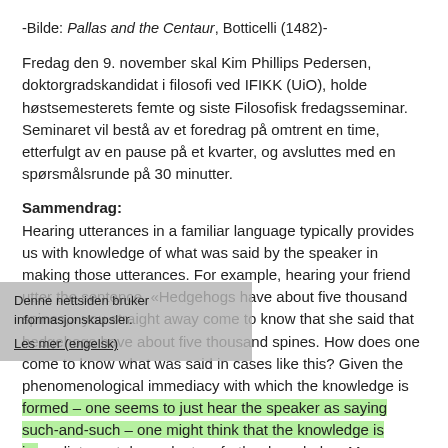-Bilde: Pallas and the Centaur, Botticelli (1482)-
Fredag den 9. november skal Kim Phillips Pedersen, doktorgradskandidat i filosofi ved IFIKK (UiO), holde høstsemesterets femte og siste Filosofisk fredagsseminar. Seminaret vil bestå av et foredrag på omtrent en time, etterfulgt av en pause på et kvarter, og avsluttes med en spørsmålsrunde på 30 minutter.
Sammendrag:
Hearing utterances in a familiar language typically provides us with knowledge of what was said by the speaker in making those utterances. For example, hearing your friend utter the sentence, «Hedgehogs have about five thousand spines,» you straight away come to know that she said that hedgehogs have about five thousand spines. How does one come to know what was said in cases like this? Given the phenomenological immediacy with which the knowledge is formed – one seems to just hear the speaker as saying such-and-such – one might think that the knowledge is immediate, not dependent on further knowledge. Many philosophers are committed to this claim. In this talk I will argue that the